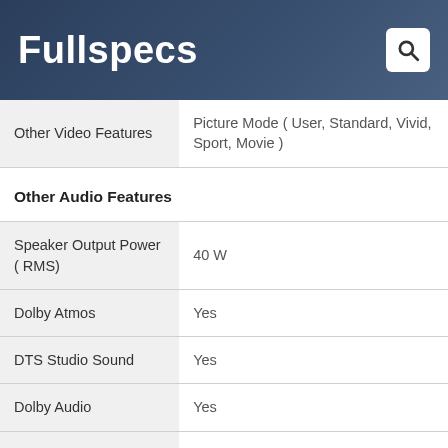Fullspecs
| Other Video Features | Picture Mode ( User, Standard, Vivid, Sport, Movie ) |
| Other Audio Features |  |
| Speaker Output Power ( RMS) | 40 W |
| Dolby Atmos | Yes |
| DTS Studio Sound | Yes |
| Dolby Audio | Yes |
| Surround Sound | Yes |
| Speaker Type | Box |
| Sound Mode | Standard, Music, Sport, Movie |
| Other Audio Features | 360 Degree Surround Sound Eqd with |